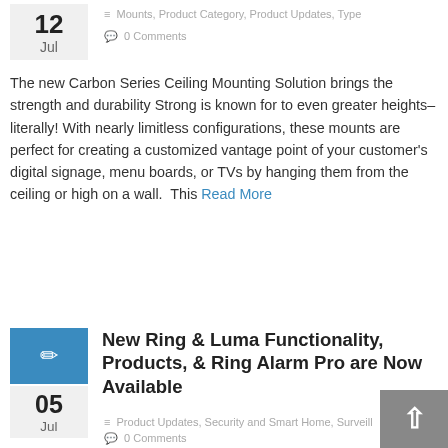12 Jul
Mounts, Product Category, Product Updates, Type
0 Comments
The new Carbon Series Ceiling Mounting Solution brings the strength and durability Strong is known for to even greater heights–literally! With nearly limitless configurations, these mounts are perfect for creating a customized vantage point of your customer's digital signage, menu boards, or TVs by hanging them from the ceiling or high on a wall.  This Read More
New Ring & Luma Functionality, Products, & Ring Alarm Pro are Now Available
05 Jul
Product Updates, Security and Smart Home, Surveillance
0 Comments
Are you looking for the most profitable and feature-rich solution for your next install? Try pairing Luma cameras with